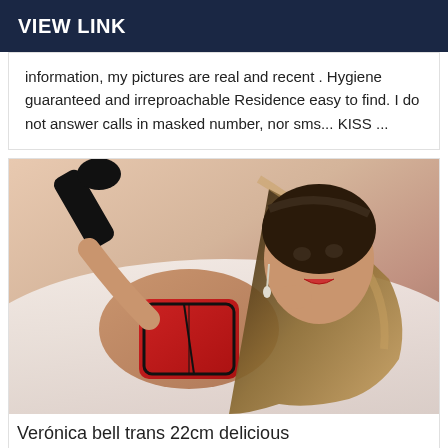VIEW LINK
information, my pictures are real and recent . Hygiene guaranteed and irreproachable Residence easy to find. I do not answer calls in masked number, nor sms... KISS ...
[Figure (photo): Woman posing on a white couch wearing red lingerie with long dark hair]
Verónica bell trans 22cm delicious